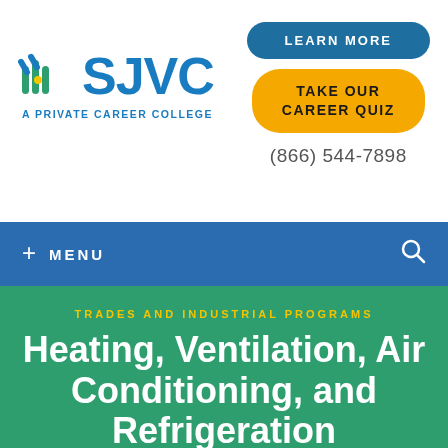[Figure (logo): SJVC logo with colorful icon and text 'SJVC A PRIVATE CAREER COLLEGE']
LEARN MORE
TAKE OUR CAREER QUIZ
(866) 544-7898
+ MENU
TRADES AND INDUSTRIAL PROGRAMS
Heating, Ventilation, Air Conditioning, and Refrigeration